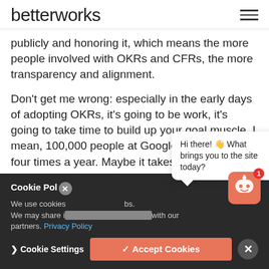betterworks
publicly and honoring it, which means the more people involved with OKRs and CFRs, the more transparency and alignment.
Don't get me wrong: especially in the early days of adopting OKRs, it's going to be work, it's going to take time to build up your goal muscle. I mean, 100,000 people at Google are doing this four times a year. Maybe it takes them half a day. Would you take
Cookie Policy
We use cookies. We may share information you provide us with our partners. Privacy Policy
[Figure (screenshot): Chat bubble with text: Hi there! 👋 What brings you to the site today?]
[Figure (logo): Betterworks chat bot icon with smiley face, notification badge showing 1]
Cookie Settings   ✓ Accept Cookies